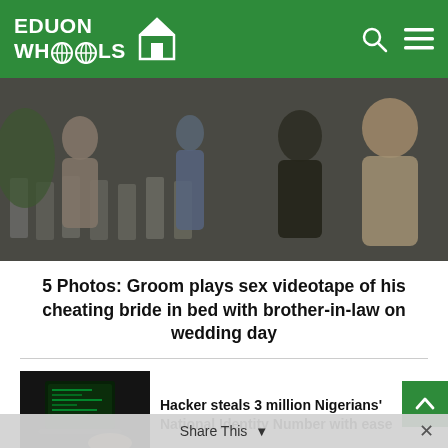EDUON WHOOLS
[Figure (photo): Outdoor wedding scene with people standing among rows of white folding chairs]
5 Photos: Groom plays sex videotape of his cheating bride in bed with brother-in-law on wedding day
[Figure (photo): Person using a laptop in a dark setting, representing hacking]
Hacker steals 3 million Nigerians' National Identity Number with ease
[Figure (photo): Cybersecurity themed image with Android and Chrome logo]
Cybersecurity: Why Android users should delete their Google Chrome browser app now
Share This